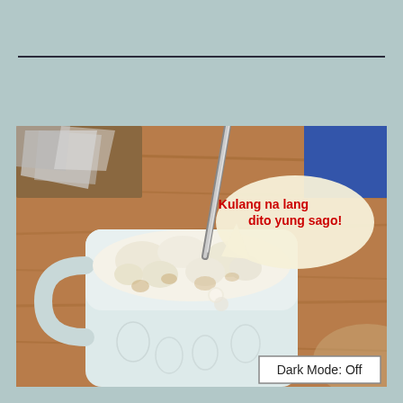[Figure (photo): A white ceramic mug filled with sago (tapioca pearls) and milk/liquid, with a metal spoon inserted, placed on a wooden table. There are some foil wrappers visible in the top left. A speech bubble with red bold text reads 'Kulang na lang dito yung sago!' A 'Dark Mode: Off' button appears in the bottom right corner of the image.]